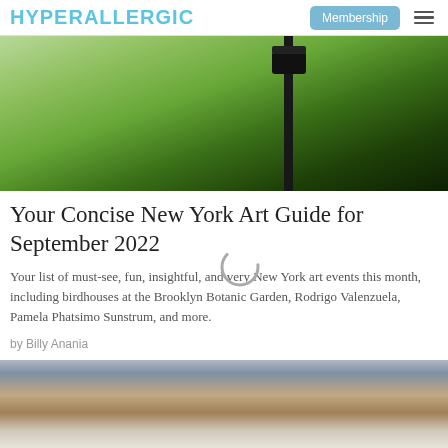HYPERALLERGIC
[Figure (photo): Outdoor scene with green foliage and a dark post or pole structure with a camera or birdhouse on top]
Your Concise New York Art Guide for September 2022
Your list of must-see, fun, insightful, and very New York art events this month, including birdhouses at the Brooklyn Botanic Garden, Rodrigo Valenzuela, Pamela Phatsimo Sunstrum, and more.
by Billy Anania
[Figure (photo): Partial view of an outdoor scene with blue and tan tones, possibly sculptures or water feature]